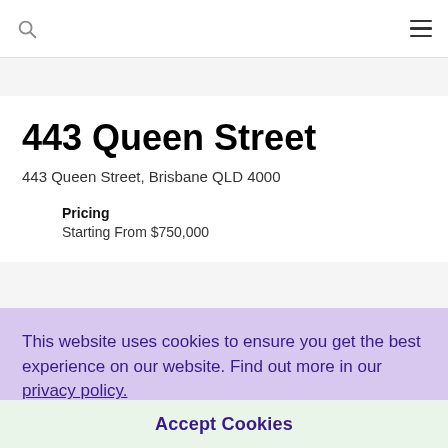443 Queen Street
443 Queen Street
443 Queen Street, Brisbane QLD 4000
Pricing
Starting From $750,000
This website uses cookies to ensure you get the best experience on our website. Find out more in our privacy policy.
Accept Cookies